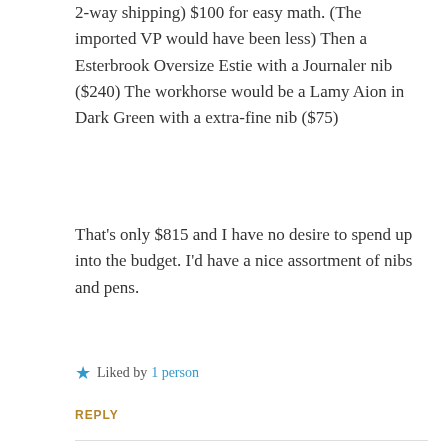2-way shipping) $100 for easy math. (The imported VP would have been less)
Then a Esterbrook Oversize Estie with a Journaler nib ($240)
The workhorse would be a Lamy Aion in Dark Green with a extra-fine nib ($75)
That’s only $815 and I have no desire to spend up into the budget. I’d have a nice assortment of nibs and pens.
★ Liked by 1 person
REPLY
Advertisements
Build a writing habit.